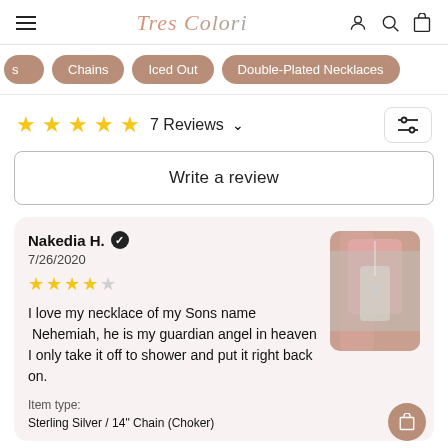Tres Colori
s | Chains | Iced Out | Double-Plated Necklaces
★★★★★ 7 Reviews
Write a review
Nakedia H. ✓
7/26/2020
★★★★☆
I love my necklace of my Sons name  Nehemiah, he is my guardian angel in heaven I only take it off to shower and put it right back on.
Item type:
Sterling Silver / 14" Chain (Choker)